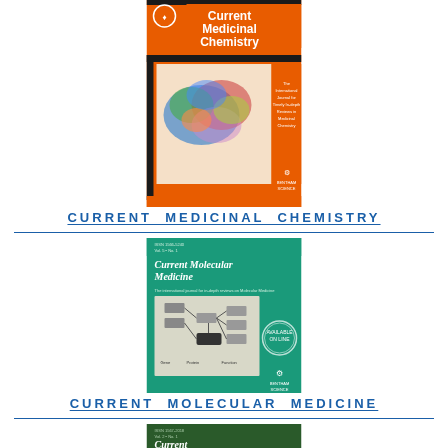[Figure (illustration): Journal cover of Current Medicinal Chemistry - orange background with molecular structure image and publisher logo]
CURRENT MEDICINAL CHEMISTRY
[Figure (illustration): Journal cover of Current Molecular Medicine - teal/green background with molecular medicine diagram and publisher logo]
CURRENT MOLECULAR MEDICINE
[Figure (illustration): Journal cover of Current Drug Delivery - dark green background with text and publisher logo, partially visible at bottom of page]